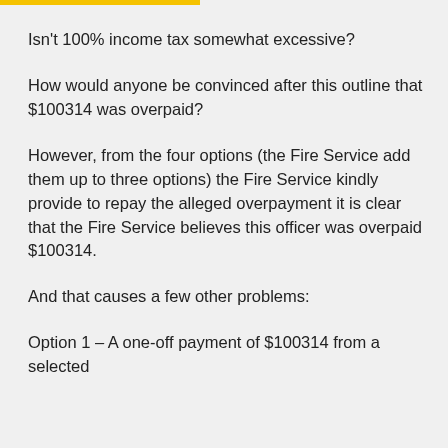Isn't 100% income tax somewhat excessive?
How would anyone be convinced after this outline that $100314 was overpaid?
However, from the four options (the Fire Service add them up to three options) the Fire Service kindly provide to repay the alleged overpayment it is clear that the Fire Service believes this officer was overpaid $100314.
And that causes a few other problems:
Option 1 – A one-off payment of $100314 from a selected